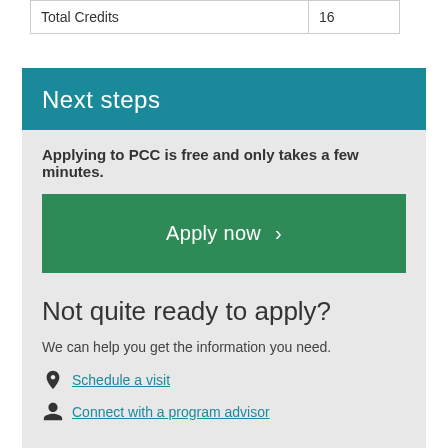| Total Credits | 16 |
Next steps
Applying to PCC is free and only takes a few minutes.
Apply now
Not quite ready to apply?
We can help you get the information you need.
Schedule a visit
Connect with a program advisor